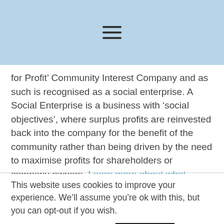[hamburger menu icon]
for Profit’ Community Interest Company and as such is recognised as a social enterprise. A Social Enterprise is a business with ‘social objectives’, where surplus profits are reinvested back into the company for the benefit of the community rather than being driven by the need to maximise profits for shareholders or company owners. Learn more about what makes a Community Interest
This website uses cookies to improve your experience. We’ll assume you’re ok with this, but you can opt-out if you wish.
Cookie settings | ACCEPT